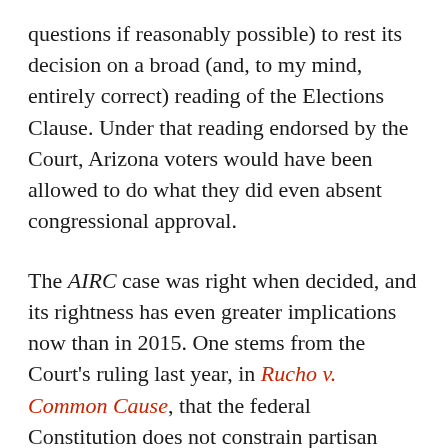questions if reasonably possible) to rest its decision on a broad (and, to my mind, entirely correct) reading of the Elections Clause. Under that reading endorsed by the Court, Arizona voters would have been allowed to do what they did even absent congressional approval.
The AIRC case was right when decided, and its rightness has even greater implications now than in 2015. One stems from the Court's ruling last year, in Rucho v. Common Cause, that the federal Constitution does not constrain partisan gerrymandering. (For an explanation of why Rucho should be read as a decision on the merits of that question, see my column here). Because the federal